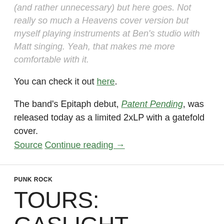(and rather unnecessary) but here goes. Not really so much a Heavens cover version but myself playing instruments at Ben's studio with Matt singing. Yeah, that makes me more comfortable with it.
You can check it out here.
The band's Epitaph debut, Patent Pending, was released today as a limited 2xLP with a gatefold cover. Source Continue reading →
PUNK ROCK
TOURS: GASLIGHT ANTHEM WITH THE DRAFT AGAINST